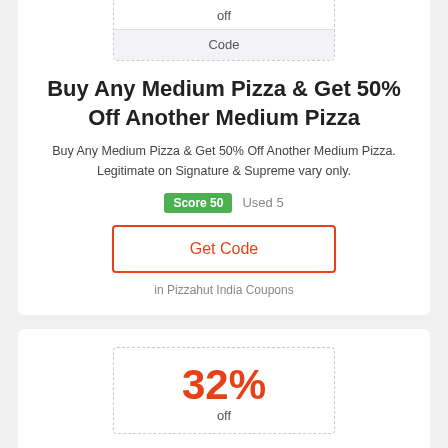| off |
| Code |
Buy Any Medium Pizza & Get 50% Off Another Medium Pizza
Buy Any Medium Pizza & Get 50% Off Another Medium Pizza. Legitimate on Signature & Supreme vary only.
Score 50   Used 5
Get Code
in Pizzahut India Coupons
32%
off